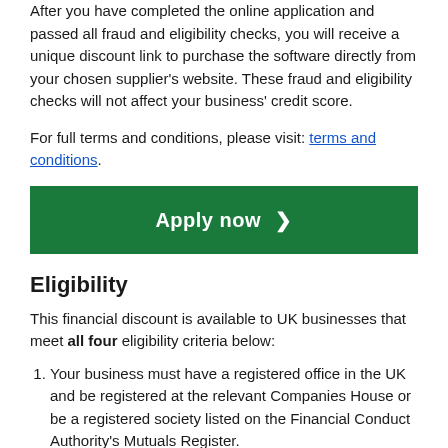After you have completed the online application and passed all fraud and eligibility checks, you will receive a unique discount link to purchase the software directly from your chosen supplier's website. These fraud and eligibility checks will not affect your business' credit score.
For full terms and conditions, please visit: terms and conditions.
[Figure (other): Green 'Apply now' button with right-pointing chevron]
Eligibility
This financial discount is available to UK businesses that meet all four eligibility criteria below:
Your business must have a registered office in the UK and be registered at the relevant Companies House or be a registered society listed on the Financial Conduct Authority's Mutuals Register.
Your business must have been actively trading for